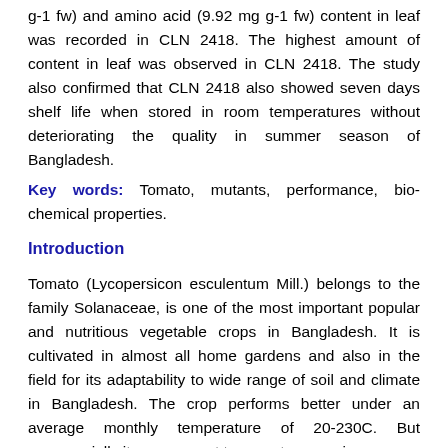g-1 fw) and amino acid (9.92 mg g-1 fw) content in leaf was recorded in CLN 2418. The highest amount of content in leaf was observed in CLN 2418. The study also confirmed that CLN 2418 also showed seven days shelf life when stored in room temperatures without deteriorating the quality in summer season of Bangladesh.
Key words: Tomato, mutants, performance, biochemical properties.
Introduction
Tomato (Lycopersicon esculentum Mill.) belongs to the family Solanaceae, is one of the most important popular and nutritious vegetable crops in Bangladesh. It is cultivated in almost all home gardens and also in the field for its adaptability to wide range of soil and climate in Bangladesh. The crop performs better under an average monthly temperature of 20-230C. But commercially it may grow at temperature ranging